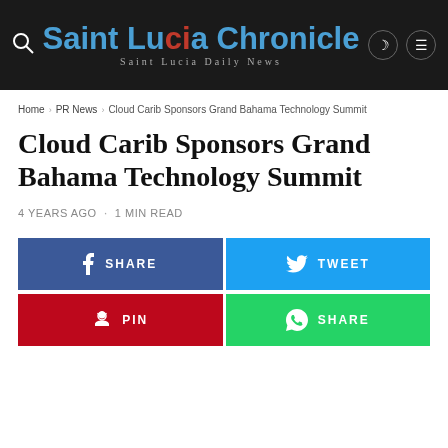Saint Lucia Chronicle — Saint Lucia Daily News
Home > PR News > Cloud Carib Sponsors Grand Bahama Technology Summit
Cloud Carib Sponsors Grand Bahama Technology Summit
4 YEARS AGO · 1 MIN READ